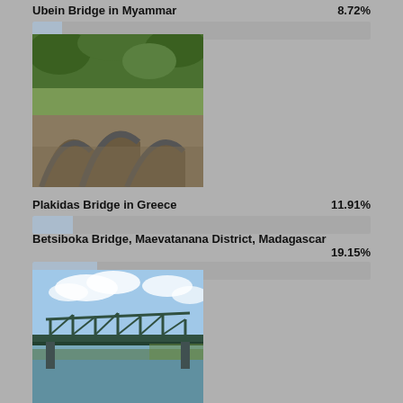Ubein Bridge in Myanmar — 8.72%
[Figure (bar-chart): Ubein Bridge in Myanmar]
[Figure (photo): Photo of Plakidas Bridge in Greece — stone arch bridge surrounded by green trees]
Plakidas Bridge in Greece — 11.91%
[Figure (bar-chart): Plakidas Bridge in Greece]
Betsiboka Bridge, Maevatanana District, Madagascar — 19.15%
[Figure (bar-chart): Betsiboka Bridge, Maevatanana District, Madagascar]
[Figure (photo): Photo of a steel truss bridge over water with cloudy sky]